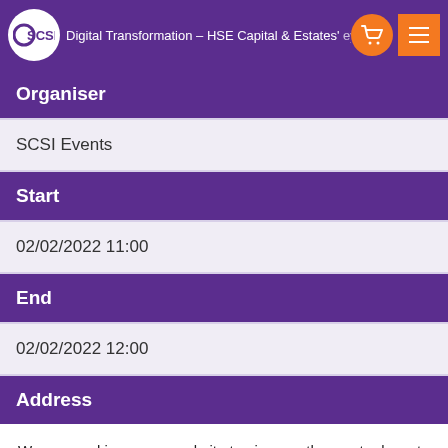Digital Transformation – HSE Capital & Estates' Survey
| Organiser |  |
| SCSI Events |  |
| Start |  |
| 02/02/2022 11:00 |  |
| End |  |
| 02/02/2022 12:00 |  |
| Address |  |
We use cookies on our website to give you the most relevant experience by remembering your preferences and repeat visits. By clicking “Accept”, you consent to the use of ALL the cookies.
Cookie settings  ACCEPT